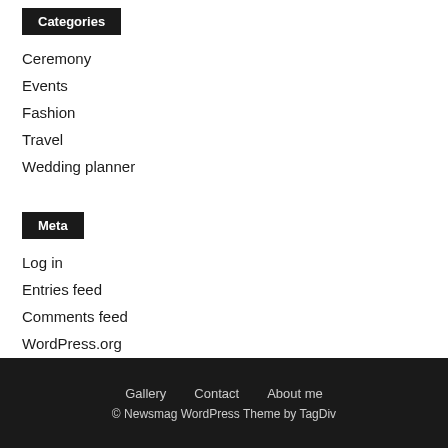Categories
Ceremony
Events
Fashion
Travel
Wedding planner
Meta
Log in
Entries feed
Comments feed
WordPress.org
Gallery  Contact  About me
© Newsmag WordPress Theme by TagDiv